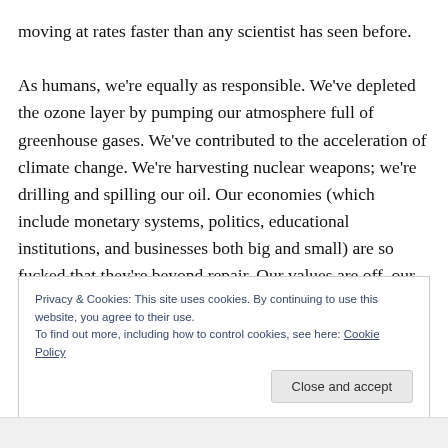moving at rates faster than any scientist has seen before.

As humans, we're equally as responsible. We've depleted the ozone layer by pumping our atmosphere full of greenhouse gases. We've contributed to the acceleration of climate change. We're harvesting nuclear weapons; we're drilling and spilling our oil. Our economies (which include monetary systems, politics, educational institutions, and businesses both big and small) are so fucked that they're beyond repair. Our values are off, our health is down, and our waistlines are larger than ever. It's
Privacy & Cookies: This site uses cookies. By continuing to use this website, you agree to their use.
To find out more, including how to control cookies, see here: Cookie Policy
Close and accept